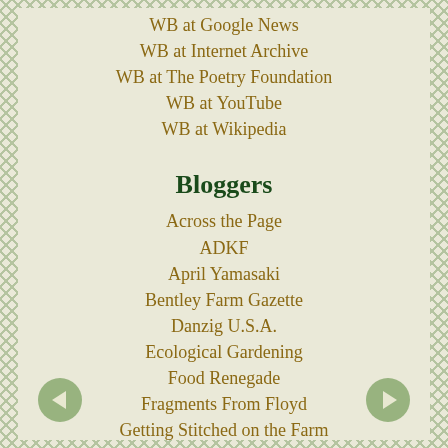WB at Google News
WB at Internet Archive
WB at The Poetry Foundation
WB at YouTube
WB at Wikipedia
Bloggers
Across the Page
ADKF
April Yamasaki
Bentley Farm Gazette
Danzig U.S.A.
Ecological Gardening
Food Renegade
Fragments From Floyd
Getting Stitched on the Farm
Granny Miller
Hearts & Minds Books Read Net